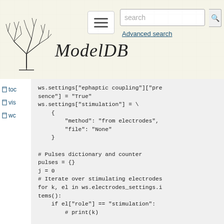[Figure (screenshot): ModelDB website header with neuron logo, hamburger menu, search bar, and Advanced search link]
toc
vis
wc
ws.settings["ephaptic coupling"]["presence"] = "True"
ws.settings["stimulation"] = \
    {
        "method": "from electrodes",
        "file": "None"
    }

# Pulses dictionary and counter
pulses = {}
j = 0
# Iterate over stimulating electrodes
for k, el in ws.electrodes_settings.items():
    if el["role"] == "stimulation":
        # print(k)

        # Iterate over active pads
        for pad, protocol in el["stimulation protocol"].items():